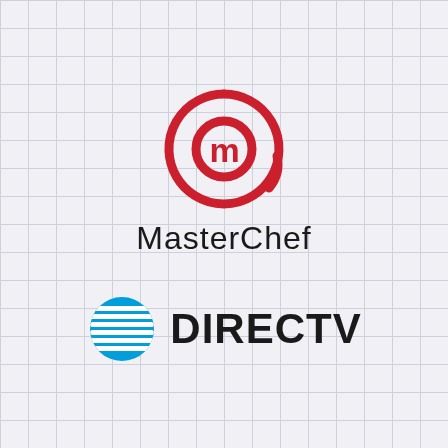[Figure (logo): MasterChef logo: red circular swirl forming the letter M, with the text 'MasterChef' below in black sans-serif font]
[Figure (logo): DIRECTV logo: AT&T blue globe icon with white horizontal stripes, followed by 'DIRECTV' in bold black uppercase sans-serif font]